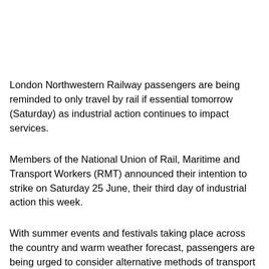London Northwestern Railway passengers are being reminded to only travel by rail if essential tomorrow (Saturday) as industrial action continues to impact services.
Members of the National Union of Rail, Maritime and Transport Workers (RMT) announced their intention to strike on Saturday 25 June, their third day of industrial action this week.
With summer events and festivals taking place across the country and warm weather forecast, passengers are being urged to consider alternative methods of transport as a very limited train service will be in operation. Those services which do run will operate between approximately...